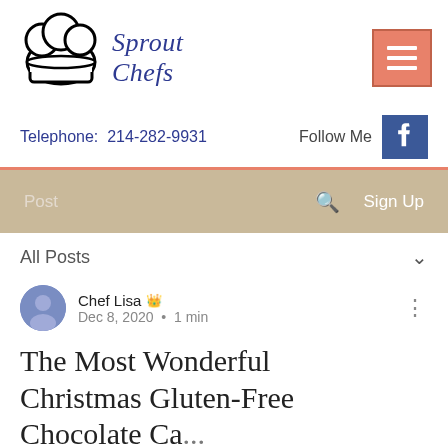[Figure (logo): Sprout Chefs logo with chef hat illustration and stylized text 'Sprout Chefs' in blue serif font, alongside a hamburger menu button in salmon/coral color]
Telephone: 214-282-9931
[Figure (logo): Follow Me text with Facebook icon in blue square]
Post  🔍  Sign Up
All Posts ∨
Chef Lisa 👑
Dec 8, 2020 · 1 min
The Most Wonderful Christmas Gluten-Free Chocolate Ca...